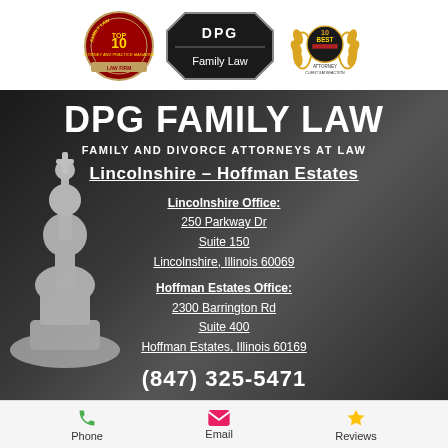[Figure (logo): Top bar with three badges: left red circular 'Top 10 Law Firm' badge, center black octagonal 'DPG Family Law' badge, right gold laurel '10 Best Attorney Client Satisfaction' badge]
DPG FAMILY LAW
FAMILY AND DIVORCE ATTORNEYS AT LAW
Lincolnshire – Hoffman Estates
Lincolnshire Office:
250 Parkway Dr
Suite 150
Lincolnshire, Illinois 60069
Hoffman Estates Office:
2300 Barrington Rd
Suite 400
Hoffman Estates, Illinois 60169
(847) 325-5471
Phone | Email | Reviews